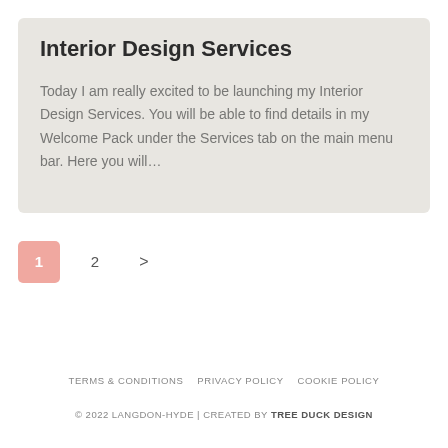Interior Design Services
Today I am really excited to be launching my Interior Design Services. You will be able to find details in my Welcome Pack under the Services tab on the main menu bar. Here you will…
1  2  >
TERMS & CONDITIONS  PRIVACY POLICY  COOKIE POLICY  © 2022 LANGDON-HYDE | CREATED BY TREE DUCK DESIGN